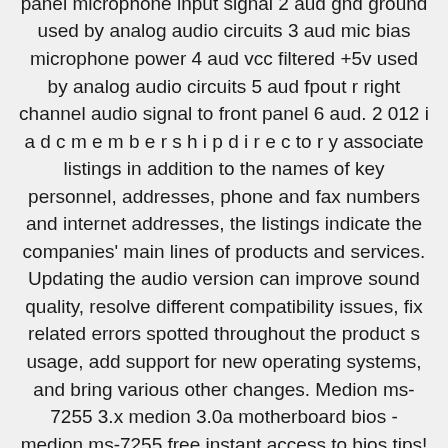panel microphone input signal 2 aud gnd ground used by analog audio circuits 3 aud mic bias microphone power 4 aud vcc filtered +5v used by analog audio circuits 5 aud fpout r right channel audio signal to front panel 6 aud. 2 012 i a d c m e m b e r s h i p d i r e c to r y associate listings in addition to the names of key personnel, addresses, phone and fax numbers and internet addresses, the listings indicate the companies' main lines of products and services. Updating the audio version can improve sound quality, resolve different compatibility issues, fix related errors spotted throughout the product s usage, add support for new operating systems, and bring various other changes. Medion ms-7255 3.x medion 3.0a motherboard bios - medion ms-7255 free instant access to bios tips!